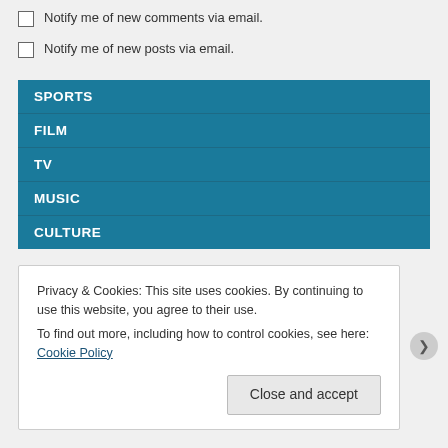Notify me of new comments via email.
Notify me of new posts via email.
SPORTS
FILM
TV
MUSIC
CULTURE
Privacy & Cookies: This site uses cookies. By continuing to use this website, you agree to their use.
To find out more, including how to control cookies, see here: Cookie Policy
Close and accept